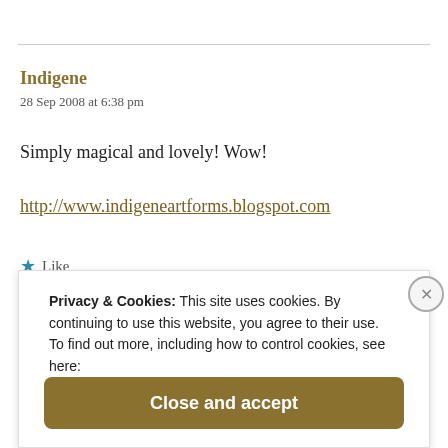Indigene
28 Sep 2008 at 6:38 pm
Simply magical and lovely! Wow!
http://www.indigeneartforms.blogspot.com
★ Like
Privacy & Cookies: This site uses cookies. By continuing to use this website, you agree to their use.
To find out more, including how to control cookies, see here:
Cookie Policy
Close and accept